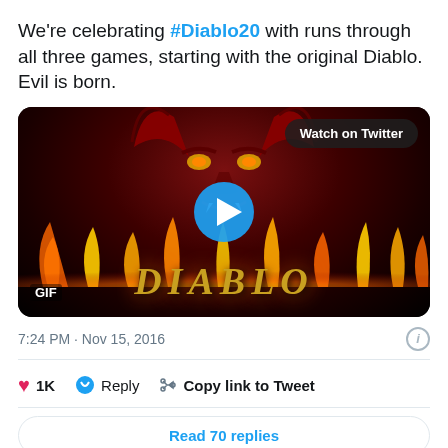We're celebrating #Diablo20 with runs through all three games, starting with the original Diablo. Evil is born.
[Figure (screenshot): Diablo game GIF thumbnail showing a demon face with flames and the Diablo logo, with a blue play button in the center and a 'Watch on Twitter' button in the top right corner. Labeled 'GIF' in the bottom left.]
7:24 PM · Nov 15, 2016
1K  Reply  Copy link to Tweet
Read 70 replies